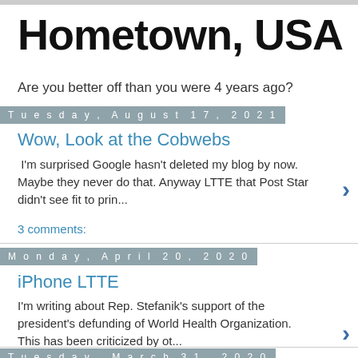Hometown, USA
Are you better off than you were 4 years ago?
Tuesday, August 17, 2021
Wow, Look at the Cobwebs
I'm surprised Google hasn't deleted my blog by now. Maybe they never do that. Anyway LTTE that Post Star didn't see fit to prin...
3 comments:
Monday, April 20, 2020
iPhone LTTE
I'm writing about Rep. Stefanik's support of the president's defunding of World Health Organization. This has been criticized by ot...
Tuesday, March 31, 2020